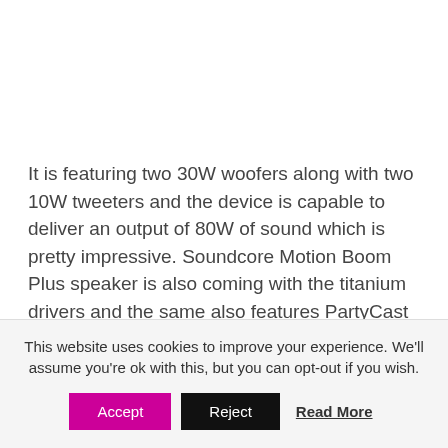It is featuring two 30W woofers along with two 10W tweeters and the device is capable to deliver an output of 80W of sound which is pretty impressive. Soundcore Motion Boom Plus speaker is also coming with the titanium drivers and the same also features PartyCast 2.0. It is housing a massive 13,400mAh battery. That means you will get extended hours of party time with music.
This website uses cookies to improve your experience. We'll assume you're ok with this, but you can opt-out if you wish.